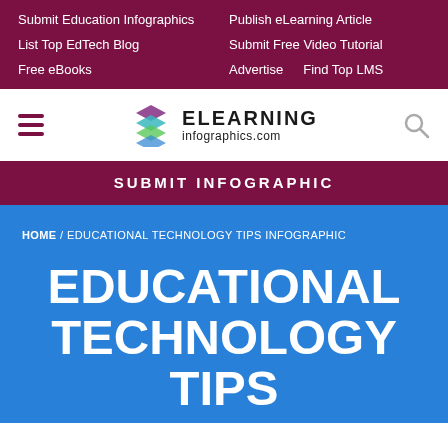Submit Education Infographics | Publish eLearning Article | List Top EdTech Blog | Submit Free Video Tutorial | Free eBooks | Advertise | Find Top LMS
[Figure (logo): ELearning Infographics logo with layered diamond shapes in purple, teal, green and blue, with text ELEARNING infographics.com]
SUBMIT INFOGRAPHIC
HOME / EDUCATIONAL TECHNOLOGY TIPS INFOGRAPHIC
EDUCATIONAL TECHNOLOGY TIPS